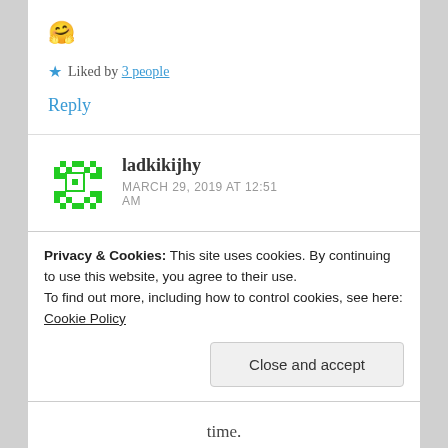🤗
★ Liked by 3 people
Reply
ladkikijhy
MARCH 29, 2019 AT 12:51 AM
Privacy & Cookies: This site uses cookies. By continuing to use this website, you agree to their use. To find out more, including how to control cookies, see here: Cookie Policy
Close and accept
time.